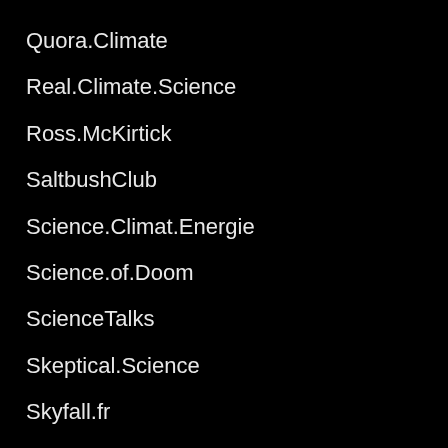Quora.Climate
Real.Climate.Science
Ross.McKirtick
SaltbushClub
Science.Climat.Energie
Science.of.Doom
ScienceTalks
Skeptical.Science
Skyfall.fr
Spencer.blog
Trullemans.Météo
UAH-edu